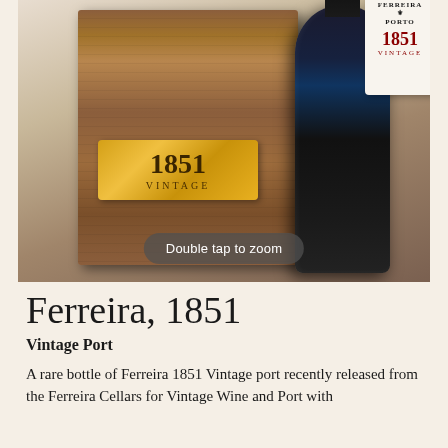[Figure (photo): Ferreira 1851 Vintage Port product photo showing a walnut wooden gift box with a gold brass plate engraved '1851 VINTAGE', and a tall dark glass bottle with a label tag reading 'FERREIRA PORTO 1851 VINTAGE'. A 'Double tap to zoom' overlay button is shown at the bottom of the image.]
Ferreira, 1851
Vintage Port
A rare bottle of Ferreira 1851 Vintage port recently released from the Ferreira Cellars for Vintage Wine and Port with